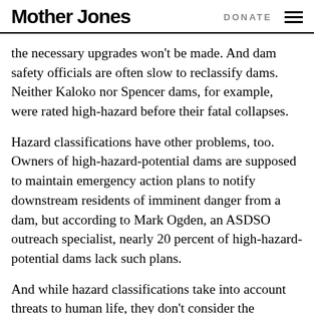Mother Jones | DONATE
the necessary upgrades won't be made. And dam safety officials are often slow to reclassify dams. Neither Kaloko nor Spencer dams, for example, were rated high-hazard before their fatal collapses.
Hazard classifications have other problems, too. Owners of high-hazard-potential dams are supposed to maintain emergency action plans to notify downstream residents of imminent danger from a dam, but according to Mark Ogden, an ASDSO outreach specialist, nearly 20 percent of high-hazard-potential dams lack such plans.
And while hazard classifications take into account threats to human life, they don't consider the